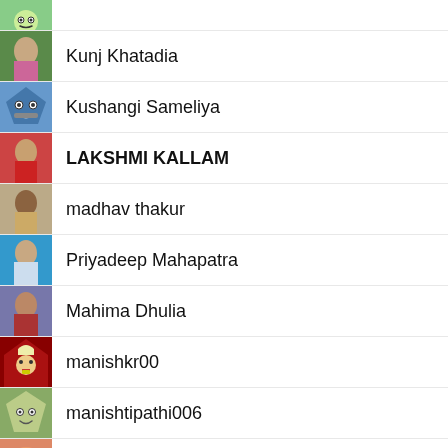(partial avatar top)
Kunj Khatadia
Kushangi Sameliya
LAKSHMI KALLAM
madhav thakur
Priyadeep Mahapatra
Mahima Dhulia
manishkr00
manishtipathi006
Mansi Jain